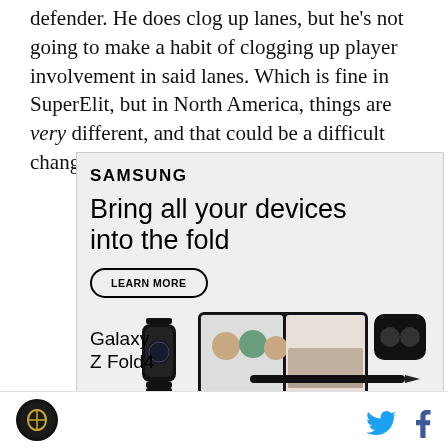defender. He does clog up lanes, but he's not going to make a habit of clogging up player involvement in said lanes. Which is fine in SuperElit, but in North America, things are very different, and that could be a difficult change for him to make
[Figure (other): Samsung advertisement for Galaxy Z Fold4. Shows Samsung logo, headline 'Bring all your devices into the fold', a 'LEARN MORE' button, and product images of a smartwatch, foldable phone with video call on screen, earbuds case, and stylus pen. Text reads 'Galaxy Z Fold4'. Fine print: 'Products sold separately. S Pen (optional) sold separately, compatible only with main display. Requires S Pen Fold Edition or S Pen Pro. Microsoft Teams requires separate download.']
Logo | Twitter | Facebook